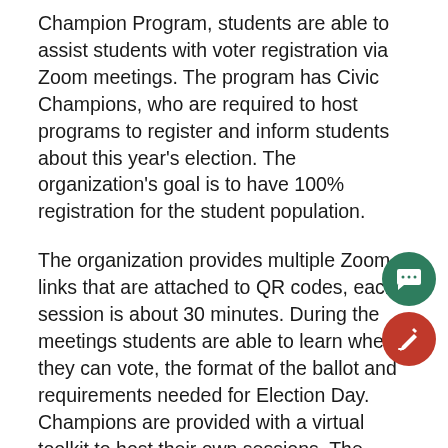Champion Program, students are able to assist students with voter registration via Zoom meetings. The program has Civic Champions, who are required to host programs to register and inform students about this year's election. The organization's goal is to have 100% registration for the student population.
The organization provides multiple Zoom links that are attached to QR codes, each session is about 30 minutes. During the meetings students are able to learn where they can vote, the format of the ballot and requirements needed for Election Day. Champions are provided with a virtual toolkit to host their own sessions. The toolkit includes training materials, informational videos, and powerpoints to show attendees.
The Civic Engagement Coalition was initiated by Tiffany Seawright, director of Leadership and Engagement the Office of Student Development. The coalition is